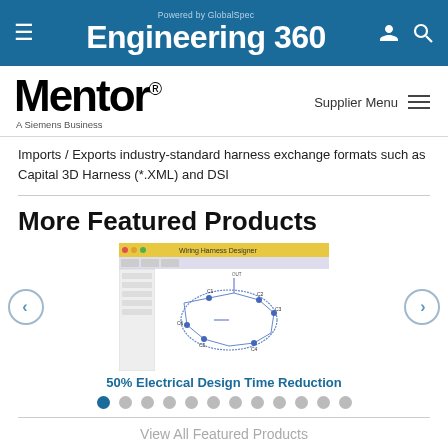Engineering 360 - Powered by GlobalSpec
[Figure (logo): Mentor - A Siemens Business logo]
Imports / Exports industry-standard harness exchange formats such as Capital 3D Harness (*.XML) and DSI
More Featured Products
[Figure (screenshot): Screenshot of an electrical wiring harness design software interface showing a schematic diagram]
50% Electrical Design Time Reduction
View All Featured Products